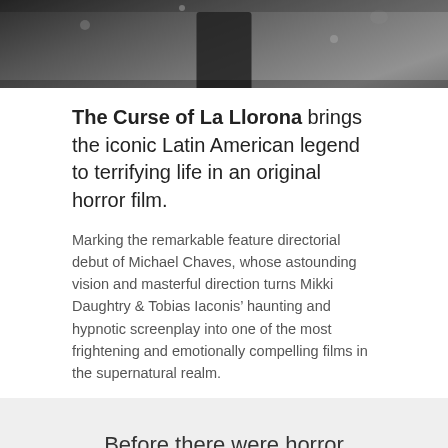[Figure (photo): Dark grayscale photo showing a partial figure of La Llorona character in a snow or rain atmosphere, cropped at top of page]
The Curse of La Llorona brings the iconic Latin American legend to terrifying life in an original horror film.
Marking the remarkable feature directorial debut of Michael Chaves, whose astounding vision and masterful direction turns Mikki Daughtry & Tobias Iaconis’ haunting and hypnotic screenplay into one of the most frightening and emotionally compelling films in the supernatural realm.
Before there were horror movies, the currency of fear the world over